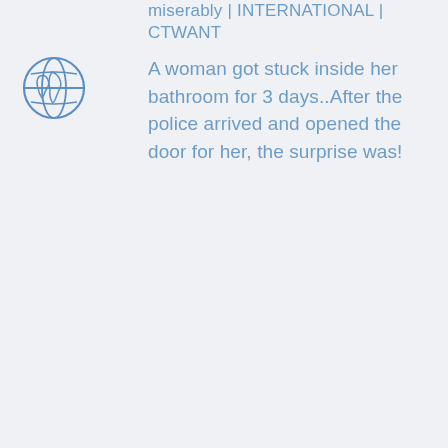miserably | INTERNATIONAL | CTWANT
[Figure (illustration): Globe/earth icon drawn in blue outline style, showing continents]
A woman got stuck inside her bathroom for 3 days..After the police arrived and opened the door for her, the surprise was!